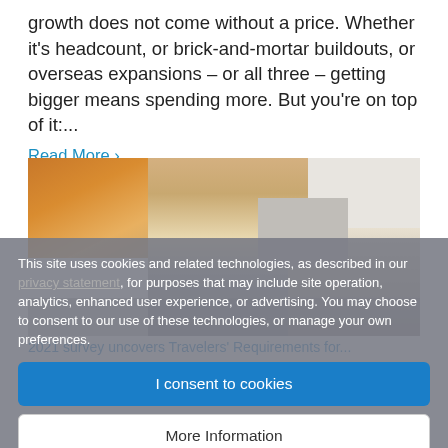growth does not come without a price. Whether it's headcount, or brick-and-mortar buildouts, or overseas expansions – or all three – getting bigger means spending more. But you're on top of it:...
Read More ›
[Figure (photo): Woman wearing a face mask in an office or airport environment, with orange architectural ceiling elements visible in the background]
2021 survey uncovers Travelers' Requirements for...
74% to 80 percent of global business travelers are willing to travel for business over the next 12...
This site uses cookies and related technologies, as described in our privacy statement, for purposes that may include site operation, analytics, enhanced user experience, or advertising. You may choose to consent to our use of these technologies, or manage your own preferences.
I consent to cookies
More Information
Privacy Policy